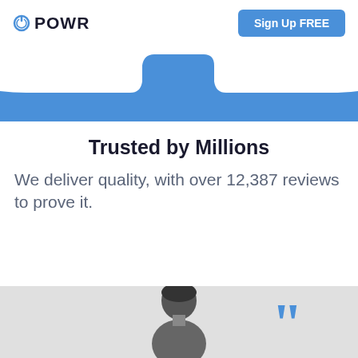POWR  Sign Up FREE
[Figure (other): Blue banner with search/navigation bar cutout at top in a rounded rectangle shape, blue background with white cutout area]
Trusted by Millions
We deliver quality, with over 12,387 reviews to prove it.
[Figure (photo): Bottom section showing a person's photo (black and white) centered, with a large blue quotation mark icon to the right, on a light gray background]